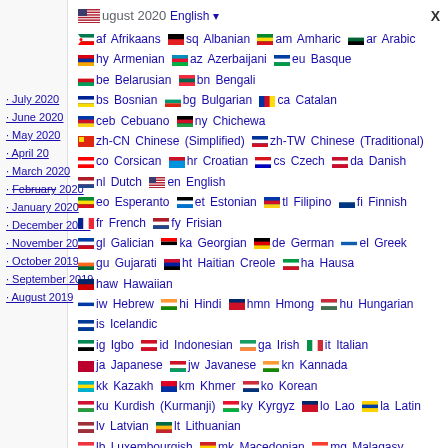August 2020 | English
July 2020
June 2020
May 2020
April 20
March 2020
February 2020
January 2020
December 2019
November 2019
October 2019
September 2019
August 2019
af Afrikaans sq Albanian am Amharic ar Arabic hy Armenian az Azerbaijani eu Basque be Belarusian bn Bengali bs Bosnian bg Bulgarian ca Catalan ceb Cebuano ny Chichewa zh-CN Chinese (Simplified) zh-TW Chinese (Traditional) co Corsican hr Croatian cs Czech da Danish nl Dutch en English eo Esperanto et Estonian tl Filipino fi Finnish fr French fy Frisian gl Galician ka Georgian de German el Greek gu Gujarati ht Haitian Creole ha Hausa haw Hawaiian iw Hebrew hi Hindi hmn Hmong hu Hungarian is Icelandic ig Igbo id Indonesian ga Irish it Italian ja Japanese jw Javanese kn Kannada kk Kazakh km Khmer ko Korean ku Kurdish (Kurmanji) ky Kyrgyz lo Lao la Latin lv Latvian lt Lithuanian lb Luxembourgish mk Macedonian mg Malagasy ms Malay ml Malayalam mt Maltese mi Maori mr Marathi mn Mongolian my Myanmar (Burmese) ne Nepali no Norwegian ps Pashto fa Persian pl Polish pt Portuguese pa Punjabi ro Romanian ru Russian sm Samoan gd Scottish Gaelic sr Serbian st Sesotho sn Shona sd Sindhi si Sinhala sk Slovak sl Slovenian so Somali es Spanish su Sudanese sw Swahili sv Swedish tg Tajik ta Tamil te Telugu th Thai tr Turkish uk Ukrainian ur Urdu uz Uzbek vi Vietnamese